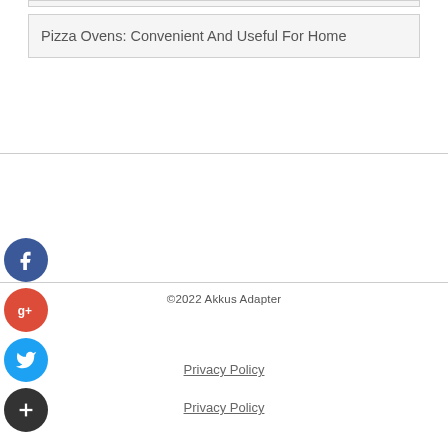Pizza Ovens: Convenient And Useful For Home
[Figure (other): Social media icons: Facebook (blue circle with f), Google+ (red circle with g+), Twitter (blue circle with bird), and a dark circle with plus sign]
©2022 Akkus Adapter
Privacy Policy
Privacy Policy